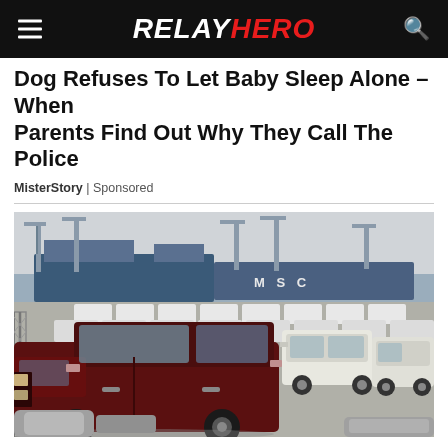RELAYHERO
Dog Refuses To Let Baby Sleep Alone – When Parents Find Out Why They Call The Police
MisterStory | Sponsored
[Figure (photo): Large parking lot full of Toyota FJ Cruiser SUVs in a port/shipping yard, with a cargo ship bearing 'MSC' letters in the background. A dark red/maroon FJ Cruiser is prominent in the foreground, surrounded by white FJ Cruisers. A chain-link fence is visible on the left side.]